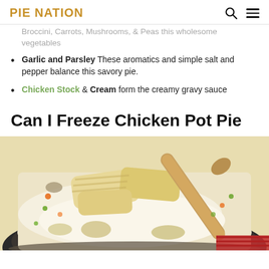PIE NATION
Broccini, Carrots, Mushrooms, & Peas this wholesome vegetables
Garlic and Parsley These aromatics and simple salt and pepper balance this savory pie.
Chicken Stock & Cream form the creamy gravy sauce
Can I Freeze Chicken Pot Pie
[Figure (photo): Close-up photo of creamy chicken pot pie filling in a pot being stirred with a wooden spoon, showing chunks of chicken, vegetables in a white creamy sauce]